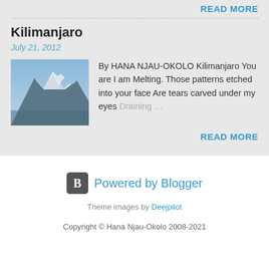READ MORE
Kilimanjaro
July 21, 2012
[Figure (photo): Photo of Kilimanjaro mountain with snow-capped peak against a blue sky]
By HANA NJAU-OKOLO Kilimanjaro You are I am Melting. Those patterns etched into your face Are tears carved under my eyes Draining …
READ MORE
Powered by Blogger
Theme images by Deejpilot
Copyright © Hana Njau-Okolo 2008-2021